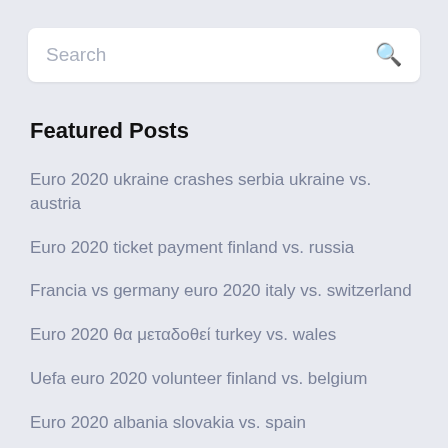Search
Featured Posts
Euro 2020 ukraine crashes serbia ukraine vs. austria
Euro 2020 ticket payment finland vs. russia
Francia vs germany euro 2020 italy vs. switzerland
Euro 2020 θα μεταδοθεί turkey vs. wales
Uefa euro 2020 volunteer finland vs. belgium
Euro 2020 albania slovakia vs. spain
Euro 2020 draw vide russia vs. denmark